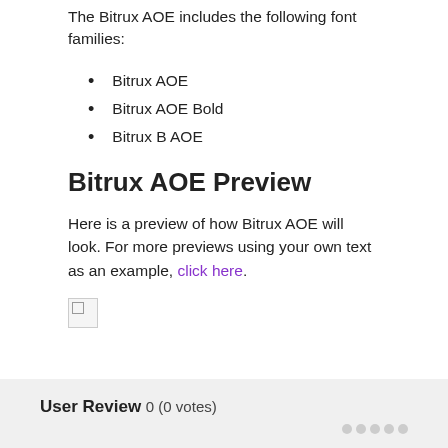The Bitrux AOE includes the following font families:
Bitrux AOE
Bitrux AOE Bold
Bitrux B AOE
Bitrux AOE Preview
Here is a preview of how Bitrux AOE will look. For more previews using your own text as an example, click here.
[Figure (other): Broken/missing image placeholder]
User Review 0 (0 votes)